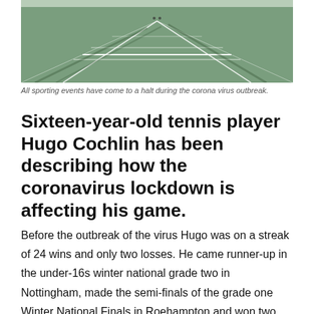[Figure (photo): Aerial or wide-angle view of a tennis court from above, showing court lines and shadows, during the coronavirus outbreak period.]
All sporting events have come to a halt during the corona virus outbreak.
Sixteen-year-old tennis player Hugo Cochlin has been describing how the coronavirus lockdown is affecting his game.
Before the outbreak of the virus Hugo was on a streak of 24 wins and only two losses. He came runner-up in the under-16s winter national grade two in Nottingham, made the semi-finals of the grade one Winter National Finals in Roehampton and won two grade threes in a row.